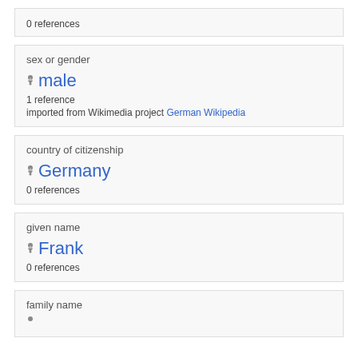0 references
sex or gender
male
1 reference
imported from Wikimedia project German Wikipedia
country of citizenship
Germany
0 references
given name
Frank
0 references
family name